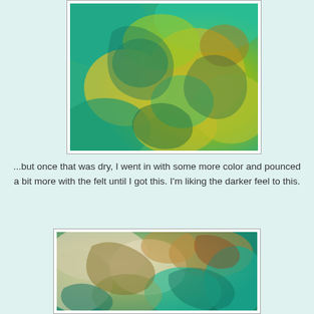[Figure (photo): Close-up texture of green and yellow mottled paint or ink, with teal/turquoise and golden-yellow organic patterns resembling lichen or abstract art.]
...but once that was dry, I went in with some more color and pounced a bit more with the felt until I got this. I'm liking the darker feel to this.
[Figure (photo): Close-up texture of another abstract art piece with teal, cream, green, and golden-brown mottled ink patterns, showing a darker feel compared to the first image.]